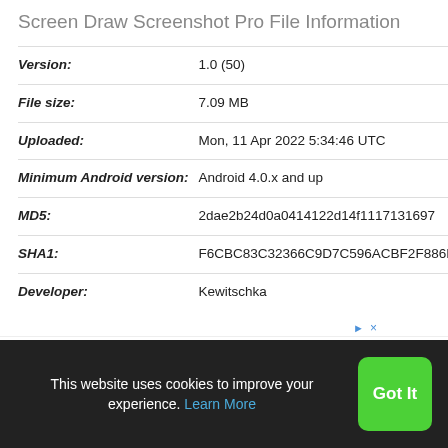Screen Draw Screenshot Pro File Information
| Version: | 1.0 (50) |
| File size: | 7.09 MB |
| Uploaded: | Mon, 11 Apr 2022 5:34:46 UTC |
| Minimum Android version: | Android 4.0.x and up |
| MD5: | 2dae2b24d0a0414122d14f1117131697 |
| SHA1: | F6CBC83C32366C9D7C596ACBF2F886D658A209F0 |
| Developer: | Kewitschka |
[Figure (other): Advertisement banner placeholder with play and close icons]
This website uses cookies to improve your experience. Learn More